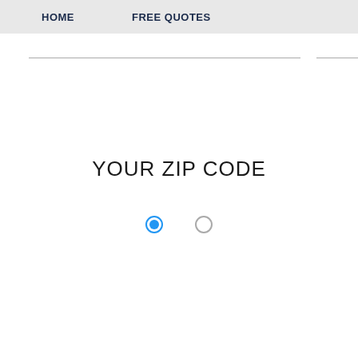HOME   FREE QUOTES
YOUR ZIP CODE
[Figure (other): Two radio buttons: one filled/selected (blue) and one empty/unselected]